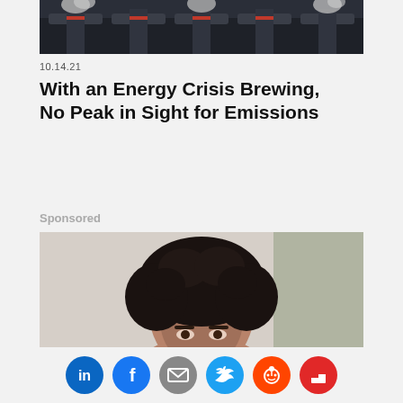[Figure (photo): Industrial smokestacks emitting smoke, dark machinery background]
10.14.21
With an Energy Crisis Brewing, No Peak in Sight for Emissions
Sponsored
[Figure (photo): Person with curly dark hair, face partially visible, light background]
[Figure (infographic): Social sharing bar with LinkedIn, Facebook, Email, Twitter, Reddit, Flipboard icons]